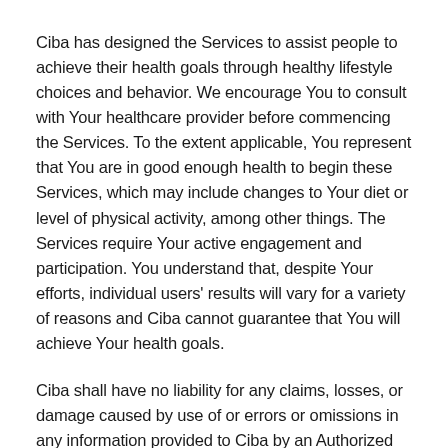Ciba has designed the Services to assist people to achieve their health goals through healthy lifestyle choices and behavior. We encourage You to consult with Your healthcare provider before commencing the Services. To the extent applicable, You represent that You are in good enough health to begin these Services, which may include changes to Your diet or level of physical activity, among other things. The Services require Your active engagement and participation. You understand that, despite Your efforts, individual users' results will vary for a variety of reasons and Ciba cannot guarantee that You will achieve Your health goals.
Ciba shall have no liability for any claims, losses, or damage caused by use of or errors or omissions in any information provided to Ciba by an Authorized User in connection with the Services or any actions taken by Ciba at an Authorized User's direction. Ciba shall have no liability for any claims, losses or damages arising out of or in connection with an Authorized User's use of any Third-Party Technology that is accessed via